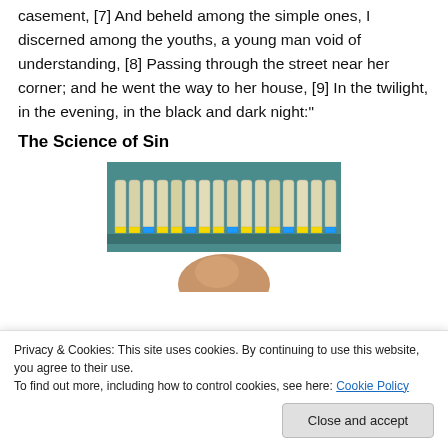casement, [7] And beheld among the simple ones, I discerned among the youths, a young man void of understanding, [8] Passing through the street near her corner; and he went the way to her house, [9] In the twilight, in the evening, in the black and dark night:"
The Science of Sin
[Figure (photo): Photo of laboratory test tubes/vials arranged on a shelf with colored labels, with a person's head partially visible below.]
Privacy & Cookies: This site uses cookies. By continuing to use this website, you agree to their use.
To find out more, including how to control cookies, see here: Cookie Policy